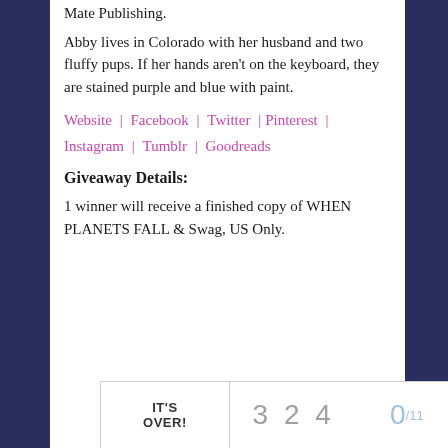Mate Publishing.
Abby lives in Colorado with her husband and two fluffy pups. If her hands aren't on the keyboard, they are stained purple and blue with paint.
Website | Facebook | Twitter | Pinterest | Instagram | Tumblr | Goodreads
Giveaway Details:
1 winner will receive a finished copy of WHEN PLANETS FALL & Swag, US Only.
[Figure (other): Giveaway widget showing IT'S OVER! with entry count 3 2 4 and 0/11 entries]